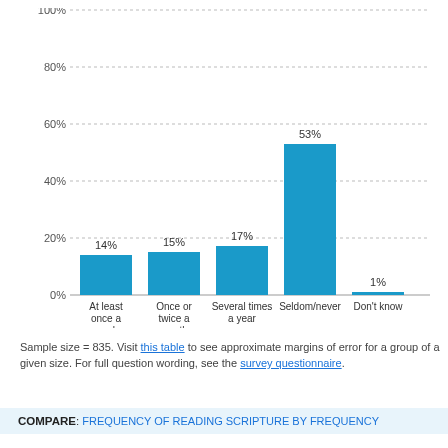[Figure (bar-chart): ]
Sample size = 835. Visit this table to see approximate margins of error for a group of a given size. For full question wording, see the survey questionnaire.
COMPARE: FREQUENCY OF READING SCRIPTURE BY FREQUENCY